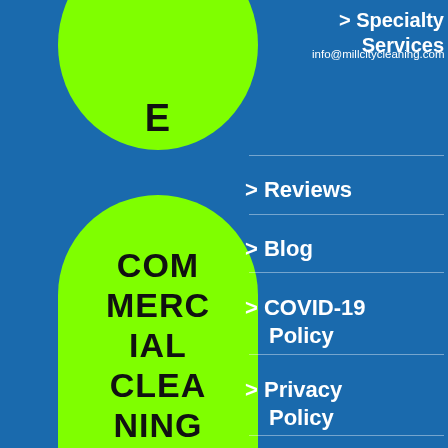[Figure (infographic): Partial green circle at top left (cropped) with letter E, and a large green rounded pill/button shape on the left side containing the text COMMERCIAL CLEANING QUOTE in black bold letters on a blue background]
info@millcitycleaning.com
> Specialty Services
> Reviews
> Blog
> COVID-19 Policy
> Privacy Policy